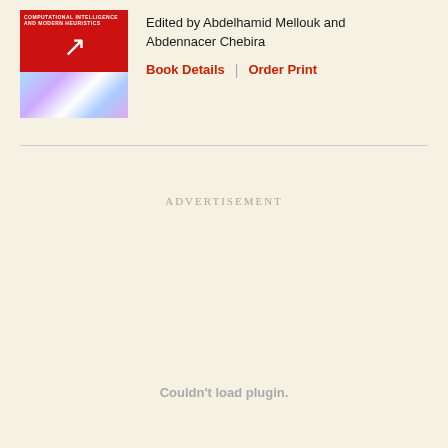[Figure (illustration): Book cover with red top half showing a cursor/arrow icon and white text, and bottom half with a colorful light-burst image]
Edited by Abdelhamid Mellouk and Abdennacer Chebira
Book Details | Order Print
ADVERTISEMENT
Couldn't load plugin.